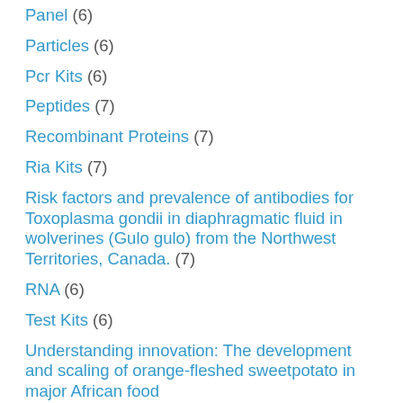Panel (6)
Particles (6)
Pcr Kits (6)
Peptides (7)
Recombinant Proteins (7)
Ria Kits (7)
Risk factors and prevalence of antibodies for Toxoplasma gondii in diaphragmatic fluid in wolverines (Gulo gulo) from the Northwest Territories, Canada. (7)
RNA (6)
Test Kits (6)
Understanding innovation: The development and scaling of orange-fleshed sweetpotato in major African food systems (8)